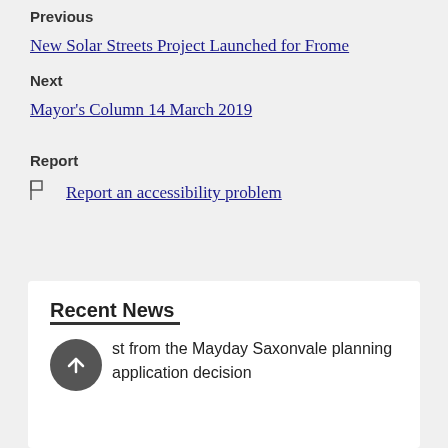Previous
New Solar Streets Project Launched for Frome
Next
Mayor's Column 14 March 2019
Report
Report an accessibility problem
Recent News
st from the Mayday Saxonvale planning application decision